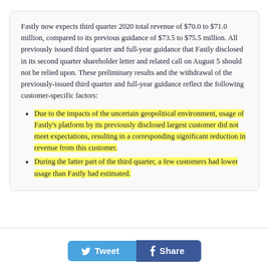Fastly now expects third quarter 2020 total revenue of $70.0 to $71.0 million, compared to its previous guidance of $73.5 to $75.5 million. All previously issued third quarter and full-year guidance that Fastly disclosed in its second quarter shareholder letter and related call on August 5 should not be relied upon. These preliminary results and the withdrawal of the previously-issued third quarter and full-year guidance reflect the following customer-specific factors:
Due to the impacts of the uncertain geopolitical environment, usage of Fastly's platform by its previously disclosed largest customer did not meet expectations, resulting in a corresponding significant reduction in revenue from this customer.
During the latter part of the third quarter, a few customers had lower usage than Fastly had estimated.